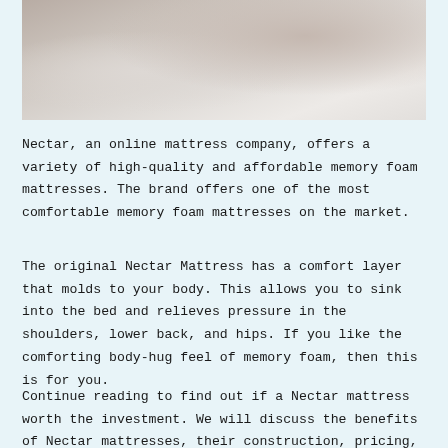[Figure (photo): Photo of a bed with white pillows and bedding, close-up view]
Nectar, an online mattress company, offers a variety of high-quality and affordable memory foam mattresses. The brand offers one of the most comfortable memory foam mattresses on the market.
The original Nectar Mattress has a comfort layer that molds to your body. This allows you to sink into the bed and relieves pressure in the shoulders, lower back, and hips. If you like the comforting body-hug feel of memory foam, then this is for you.
Continue reading to find out if a Nectar mattress worth the investment. We will discuss the benefits of Nectar mattresses, their construction, pricing, and sizing and other details.